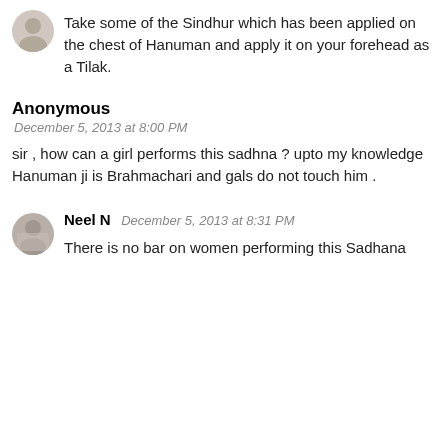Take some of the Sindhur which has been applied on the chest of Hanuman and apply it on your forehead as a Tilak.
Anonymous
December 5, 2013 at 8:00 PM
sir , how can a girl performs this sadhna ? upto my knowledge Hanuman ji is Brahmachari and gals do not touch him .
Neel N  December 5, 2013 at 8:31 PM
There is no bar on women performing this Sadhana